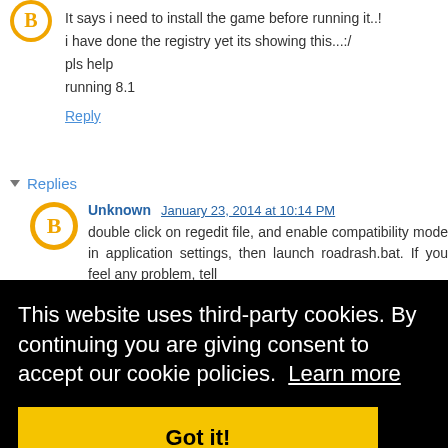It says i need to install the game before running it..!
i have done the registry yet its showing this...:/
pls help
running 8.1
Reply
Replies
Unknown  January 23, 2014 at 10:14 PM
double click on regedit file, and enable compatibility mode in application settings, then launch roadrash.bat. If you feel any problem, tell
This website uses third-party cookies. By continuing you are giving consent to accept our cookie policies.  Learn more
Got it!
Unknown  March 27, 2014 at 12:27 PM